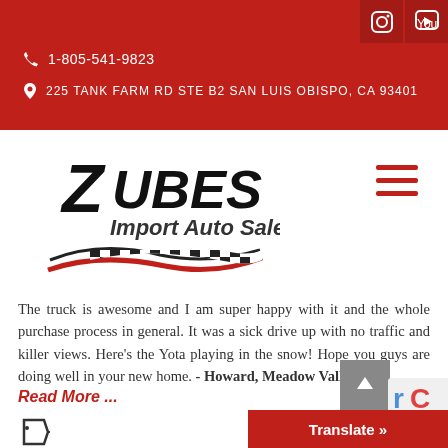1-805-541-9823 | 225 TANK FARM RD STE B2 SAN LUIS OBISPO, CA 93401
[Figure (logo): Zube's Import Auto Sales logo with checkered flag and racing swoosh]
The truck is awesome and I am super happy with it and the whole purchase process in general. It was a sick drive up with no traffic and killer views. Here's the Yota playing in the snow! Hope you guys are doing well in your new home. - Howard, Meadow Valley, CA
Read More ...
Translate »